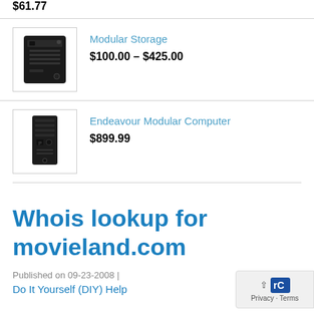$61.77
[Figure (photo): Black modular storage device product image]
Modular Storage
$100.00 – $425.00
[Figure (photo): Black Endeavour modular computer tower product image]
Endeavour Modular Computer
$899.99
Whois lookup for movieland.com
Published on 09-23-2008  |
Do It Yourself (DIY) Help